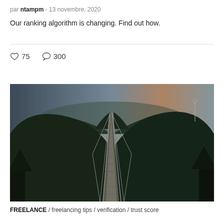par ntampm - 13 novembre, 2020
Our ranking algorithm is changing. Find out how.
♡ 75   ○ 300
[Figure (photo): Suspension bridge extending into the distance between forested hills at dusk]
FREELANCE / freelancing tips / verification / trust score